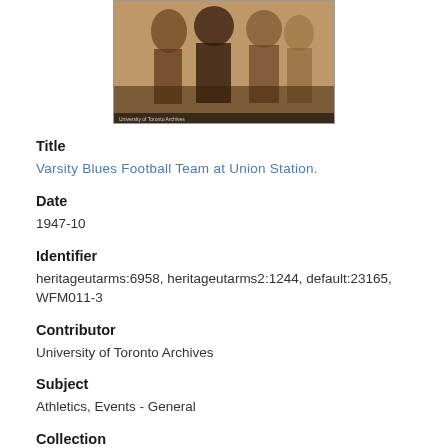[Figure (photo): Sepia-toned photograph of the Varsity Blues Football Team at Union Station, showing a group of people in coats]
Title
Varsity Blues Football Team at Union Station.
Date
1947-10
Identifier
heritageutarms:6958, heritageutarms2:1244, default:23165, WFM011-3
Contributor
University of Toronto Archives
Subject
Athletics, Events - General
Collection